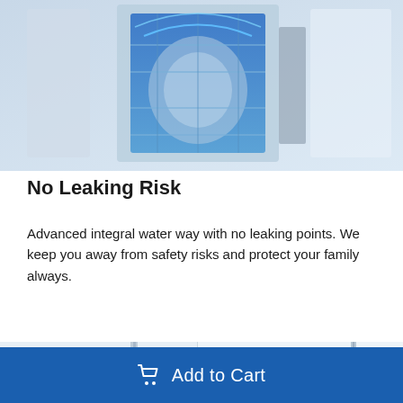[Figure (photo): Product photo of a water purification or dishwasher unit, shown with blue glowing elements suggesting water flow, on a white background.]
No Leaking Risk
Advanced integral water way with no leaking points. We keep you away from safety risks and protect your family always.
[Figure (photo): Photo showing water dispenser or filtration unit parts, white and metallic components, split view.]
Add to Cart